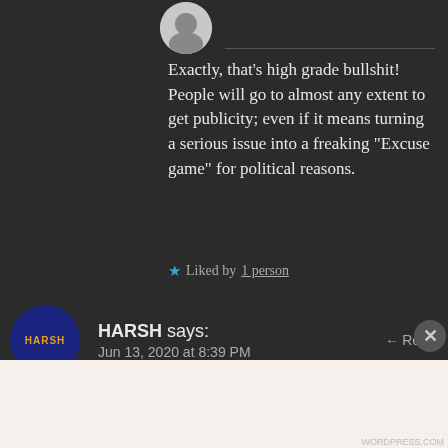[Figure (illustration): Partial avatar/profile image at top left, cartoon style, partially cropped]
Exactly, that's high grade bullshit!
People will go to almost any extent to get publicity; even if it means turning a serious issue into a freaking “Excuse game” for political reasons.
★ Liked by 1 person
HARSH says:
Jun 13, 2020 at 8:39 PM
← Reply
Advertisements
Need a website quickly – and on a budget?